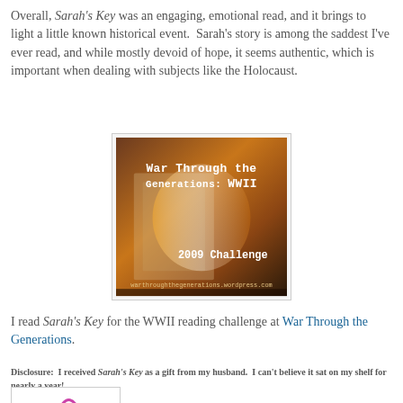Overall, Sarah's Key was an engaging, emotional read, and it brings to light a little known historical event.  Sarah's story is among the saddest I've ever read, and while mostly devoid of hope, it seems authentic, which is important when dealing with subjects like the Holocaust.
[Figure (illustration): Badge/banner image reading 'War Through the Generations: WWII 2009 Challenge' with warthroughthegenerations.wordpress.com at the bottom, dark dramatic background with aged paper texture and hands]
I read Sarah's Key for the WWII reading challenge at War Through the Generations.
Disclosure:  I received Sarah's Key as a gift from my husband.  I can't believe it sat on my shelf for nearly a year!
[Figure (photo): Partial signature or decorative script image, cropped at bottom of page]